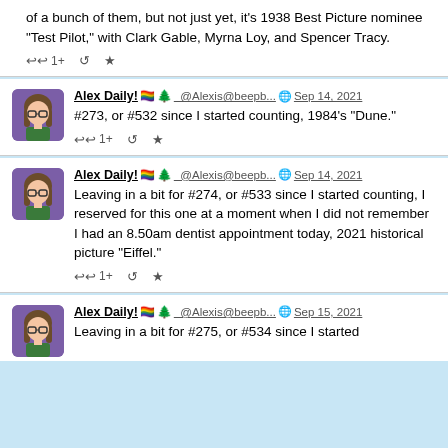of a bunch of them, but not just yet, it's 1938 Best Picture nominee "Test Pilot," with Clark Gable, Myrna Loy, and Spencer Tracy.
Alex Daily! 🏳️‍🌈 🌲 _@Alexis@beepb... 🌐 Sep 14, 2021
#273, or #532 since I started counting, 1984's "Dune."
Alex Daily! 🏳️‍🌈 🌲 _@Alexis@beepb... 🌐 Sep 14, 2021
Leaving in a bit for #274, or #533 since I started counting, I reserved for this one at a moment when I did not remember I had an 8.50am dentist appointment today, 2021 historical picture "Eiffel."
Alex Daily! 🏳️‍🌈 🌲 _@Alexis@beepb... 🌐 Sep 15, 2021
Leaving in a bit for #275, or #534 since I started